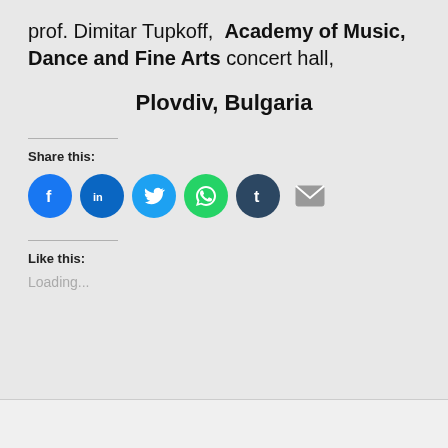prof. Dimitar Tupkoff, Academy of Music, Dance and Fine Arts concert hall,
Plovdiv, Bulgaria
Share this:
[Figure (illustration): Row of social media share icons: Facebook (blue circle with f), LinkedIn (blue circle with in), Twitter (light blue circle with bird), WhatsApp (green circle with phone), Tumblr (dark blue circle with t), Email (grey envelope icon)]
Like this:
Loading...